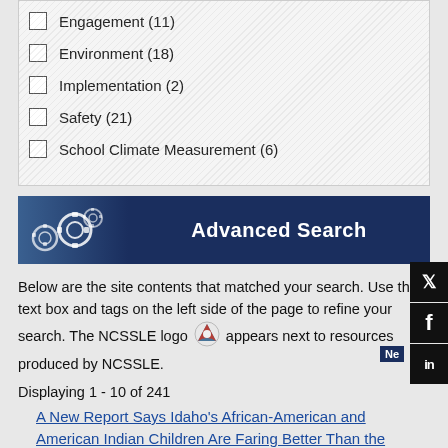Engagement (11) [truncated at top]
Environment (18)
Implementation (2)
Safety (21)
School Climate Measurement (6)
[Figure (illustration): Advanced Search banner with gears icon on dark blue background]
Below are the site contents that matched your search. Use the text box and tags on the left side of the page to refine your search. The NCSSLE logo appears next to resources produced by NCSSLE.
Displaying 1 - 10 of 241
A New Report Says Idaho's African-American and American Indian Children Are Faring Better Than the National...